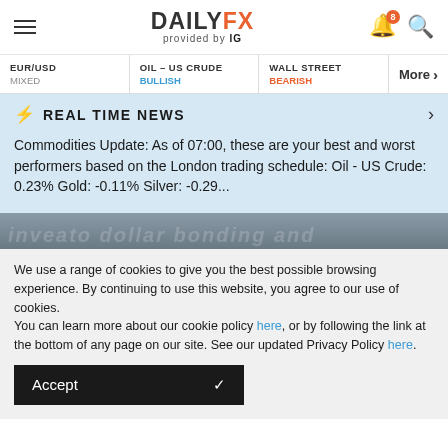DAILYFX provided by IG
EUR/USD MIXED | OIL - US CRUDE BULLISH | WALL STREET BEARISH | More
REAL TIME NEWS
Commodities Update: As of 07:00, these are your best and worst performers based on the London trading schedule: Oil - US Crude: 0.23% Gold: -0.11% Silver: -0.29...
We use a range of cookies to give you the best possible browsing experience. By continuing to use this website, you agree to our use of cookies.
You can learn more about our cookie policy here, or by following the link at the bottom of any page on our site. See our updated Privacy Policy here.
Accept